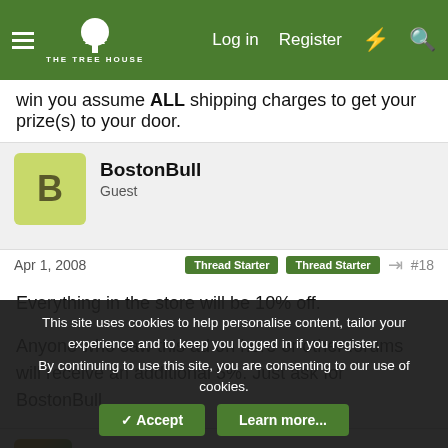THE TREE HOUSE — Log in | Register
win you assume ALL shipping charges to get your prize(s) to your door.
BostonBull
Guest
Apr 1, 2008   Thread Starter   Thread Starter   #18
Everything in the store will be 10% off.

Anyone who saw this ad on here or other forums will receive an additional 5%. Just ask for BostonBull.
vharrison
This site uses cookies to help personalise content, tailor your experience and to keep you logged in if you register.
By continuing to use this site, you are consenting to our use of cookies.